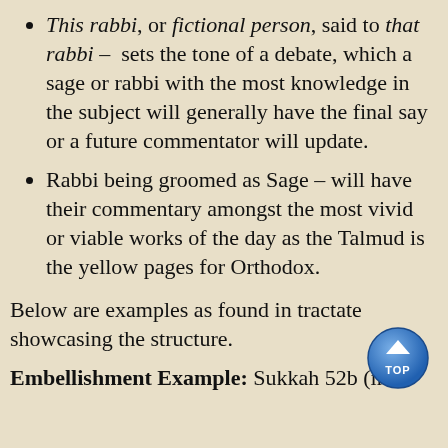This rabbi, or fictional person, said to that rabbi – sets the tone of a debate, which a sage or rabbi with the most knowledge in the subject will generally have the final say or a future commentator will update.
Rabbi being groomed as Sage – will have their commentary amongst the most vivid or viable works of the day as the Talmud is the yellow pages for Orthodox.
Below are examples as found in tractate showcasing the structure.
Embellishment Example: Sukkah 52b (in